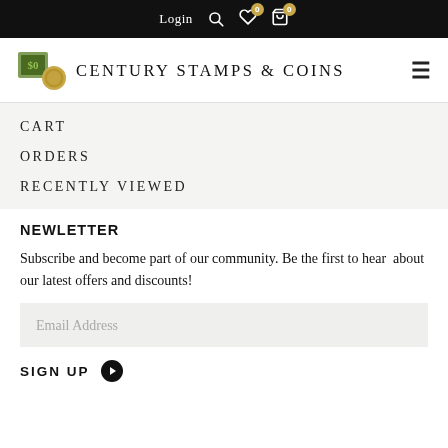Login  0  0
Century Stamps & Coins
CART
ORDERS
RECENTLY VIEWED
NEWLETTER
Subscribe and become part of our community. Be the first to hear  about our latest offers and discounts!
Email Address
SIGN UP